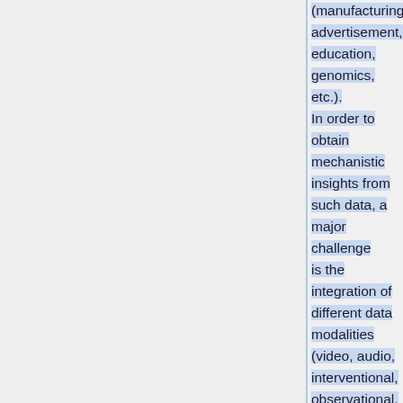(manufacturing, advertisement, education, genomics, etc.). In order to obtain mechanistic insights from such data, a major challenge is the integration of different data modalities (video, audio, interventional, observational, etc.). Using genomics and in particular the problem of identifying drugs for the